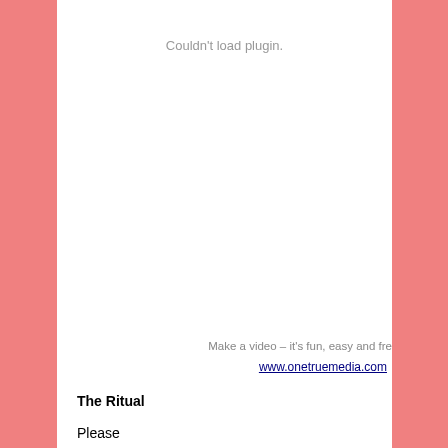Couldn't load plugin.
Make a video – it's fun, easy and fre
www.onetruemedia.com
The Ritual
Please